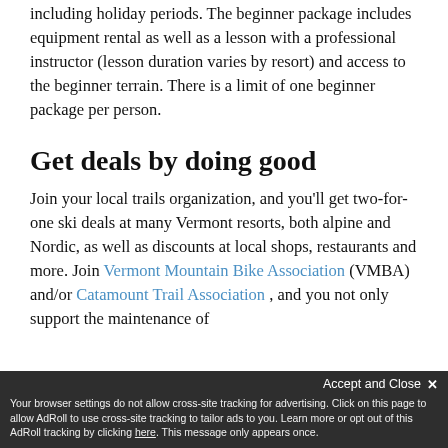including holiday periods. The beginner package includes equipment rental as well as a lesson with a professional instructor (lesson duration varies by resort) and access to the beginner terrain. There is a limit of one beginner package per person.
Get deals by doing good
Join your local trails organization, and you'll get two-for-one ski deals at many Vermont resorts, both alpine and Nordic, as well as discounts at local shops, restaurants and more. Join Vermont Mountain Bike Association (VMBA) and/or Catamount Trail Association , and you not only support the maintenance of
Your browser settings do not allow cross-site tracking for advertising. Click on this page to allow AdRoll to use cross-site tracking to tailor ads to you. Learn more or opt out of this AdRoll tracking by clicking here. This message only appears once.